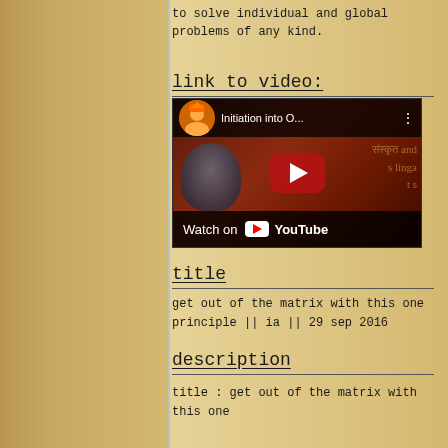to solve individual and global problems of any kind.
link to video:
[Figure (screenshot): YouTube video thumbnail embed showing 'Initiation into O...' with a Watch on YouTube button]
title
get out of the matrix with this one principle || ia || 29 sep 2016
description
title : get out of the matrix with this one